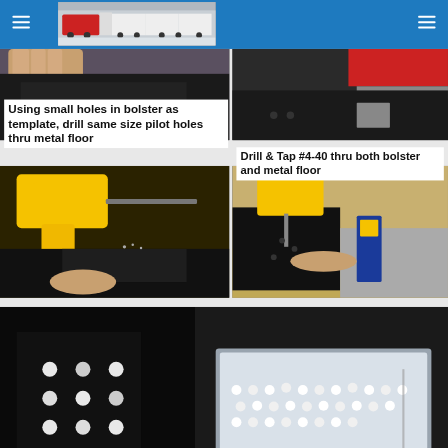[Figure (photo): Train locomotive photo in header]
[Figure (photo): Close-up of hands working on metal bolster floor, top-left]
[Figure (photo): Close-up of drilling/tapping near red locomotive part, top-right]
Using small holes in bolster as template, drill same size pilot holes thru metal floor
Drill & Tap #4-40 thru both bolster and metal floor
[Figure (photo): Yellow DeWalt drill being used on metal model floor, mid-left]
[Figure (photo): Drilling/tapping with yellow tool on metal floor with blue tape measure, mid-right]
[Figure (photo): Installing nylon ball bearings in bolster holes with rod tool, and container of white nylon ball bearings]
Install 3/16 in. dia. Nylon ballbearings in bolster holes